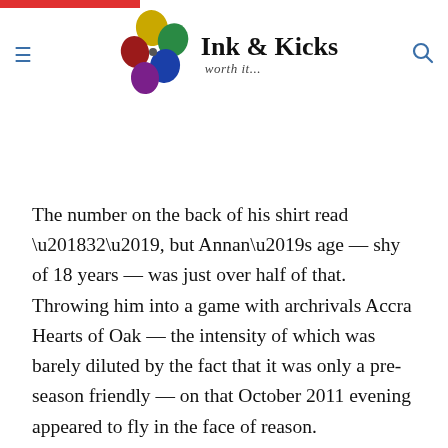Ink & Kicks — worth it...
The number on the back of his shirt read ‘32’, but Annan’s age — shy of 18 years — was just over half of that. Throwing him into a game with archrivals Accra Hearts of Oak — the intensity of which was barely diluted by the fact that it was only a pre-season friendly — on that October 2011 evening appeared to fly in the face of reason.
Was he even ready?